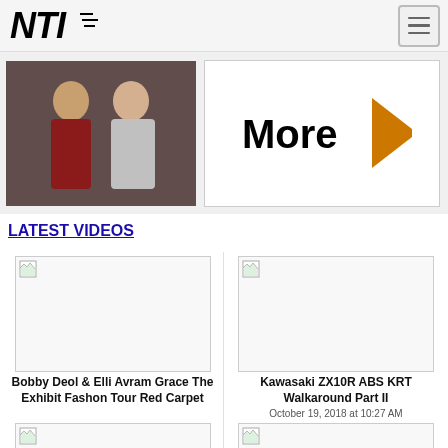NTI logo and navigation menu
[Figure (photo): Two people greeting each other, one in traditional dress]
[Figure (other): More button with orange arrow pointing right]
LATEST VIDEOS
[Figure (photo): Video thumbnail - Bobby Deol & Elli Avram Grace The Exhibit Fashon Tour Red Carpet]
Bobby Deol & Elli Avram Grace The Exhibit Fashon Tour Red Carpet
[Figure (photo): Video thumbnail - Kawasaki ZX10R ABS KRT Walkaround Part II]
Kawasaki ZX10R ABS KRT Walkaround Part II
October 19, 2018 at 10:27 AM
[Figure (photo): Video thumbnail - partial, bottom of page]
[Figure (photo): Video thumbnail - partial, bottom of page]